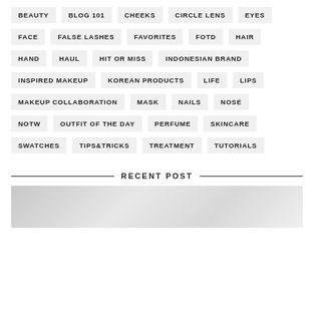BEAUTY
BLOG 101
CHEEKS
CIRCLE LENS
EYES
FACE
FALSE LASHES
FAVORITES
FOTD
HAIR
HAND
HAUL
HIT OR MISS
INDONESIAN BRAND
INSPIRED MAKEUP
KOREAN PRODUCTS
LIFE
LIPS
MAKEUP COLLABORATION
MASK
NAILS
NOSE
NOTW
OUTFIT OF THE DAY
PERFUME
SKINCARE
SWATCHES
TIPS&TRICKS
TREATMENT
TUTORIALS
RECENT POST
[Figure (photo): Recent post image thumbnail, light grey gradient background]